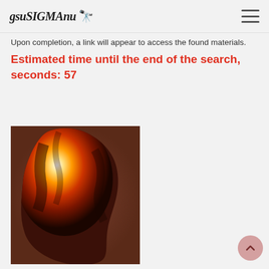gsuSIGMAnu 🔭
Upon completion, a link will appear to access the found materials.
Estimated time until the end of the search, seconds: 57
[Figure (photo): A glowing orange and red blob-shaped object resembling a salt lamp or heated rock, with bright white-yellow center fading to deep orange and black edges, on a brown background.]